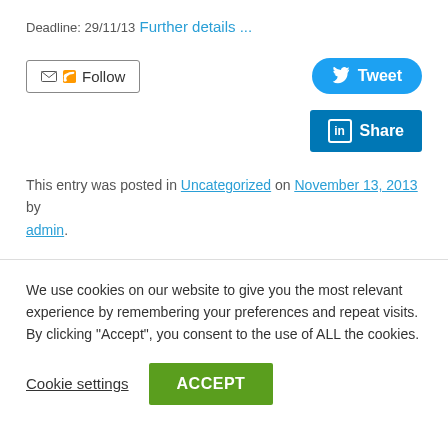Deadline: 29/11/13
Further details ...
Follow
Tweet
Share
This entry was posted in Uncategorized on November 13, 2013 by admin.
We use cookies on our website to give you the most relevant experience by remembering your preferences and repeat visits. By clicking “Accept”, you consent to the use of ALL the cookies.
Cookie settings
ACCEPT